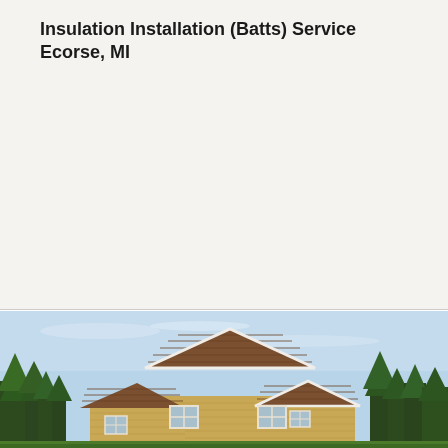Insulation Installation (Batts) Service Ecorse, MI
[Figure (photo): Exterior photo of a residential house with tan/yellow siding, brown shingle roof, white trim, multiple gabled dormers, and surrounded by pine trees under a light blue sky.]